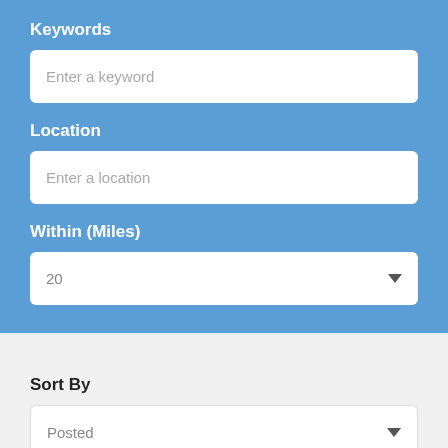Keywords
[Figure (screenshot): Text input field with placeholder 'Enter a keyword']
Location
[Figure (screenshot): Text input field with placeholder 'Enter a location']
Within (Miles)
[Figure (screenshot): Dropdown select field showing value '20' with down arrow]
Sort By
[Figure (screenshot): Dropdown select field showing value 'Posted' with down arrow]
Cat...